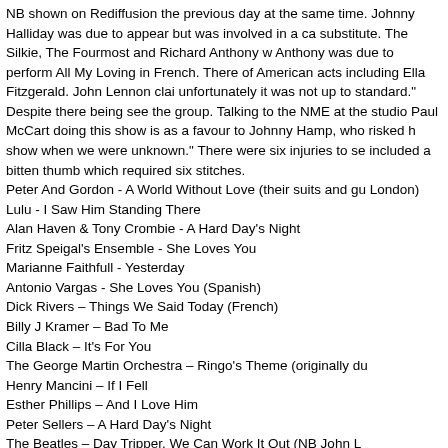NB shown on Rediffusion the previous day at the same time. Johnny Halliday was due to appear but was involved in a car accident so a substitute. The Silkie, The Fourmost and Richard Anthony were also on. Richard Anthony was due to perform All My Loving in French. There was also a number of American acts including Ella Fitzgerald. John Lennon claimed "unfortunately it was not up to standard." Despite there being a strike to see the group. Talking to the NME at the studio Paul McCartney said "The reason doing this show is as a favour to Johnny Hamp, who risked his neck to give us a show when we were unknown." There were six injuries to security staff which included a bitten thumb which required six stitches.
Peter And Gordon - A World Without Love (their suits and guitars bought in London)
Lulu - I Saw Him Standing There
Alan Haven & Tony Crombie - A Hard Day's Night
Fritz Speigal's Ensemble - She Loves You
Marianne Faithfull - Yesterday
Antonio Vargas - She Loves You (Spanish)
Dick Rivers – Things We Said Today (French)
Billy J Kramer – Bad To Me
Cilla Black – It's For You
The George Martin Orchestra – Ringo's Theme (originally du
Henry Mancini – If I Fell
Esther Phillips – And I Love Him
Peter Sellers – A Hard Day's Night
The Beatles – Day Tripper, We Can Work It Out (NB John L